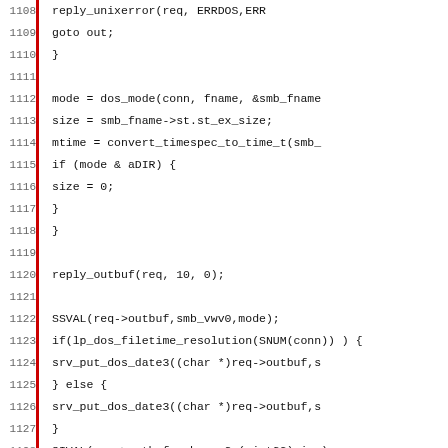[Figure (screenshot): Source code snippet in C showing lines 1108-1139 of a Samba/SMB server implementation, displaying file attribute retrieval logic including reply_unixerror, dos_mode, smb_fname handling, SSVAL/SIVAL macros, Protocol checks, DEBUG output, and TALLOC_FREE calls.]